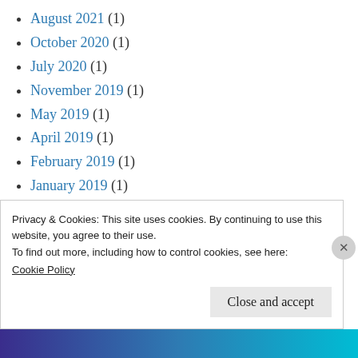August 2021 (1)
October 2020 (1)
July 2020 (1)
November 2019 (1)
May 2019 (1)
April 2019 (1)
February 2019 (1)
January 2019 (1)
December 2018 (1)
July 2018 (1)
May 2018 (1)
Privacy & Cookies: This site uses cookies. By continuing to use this website, you agree to their use.
To find out more, including how to control cookies, see here:
Cookie Policy
Close and accept